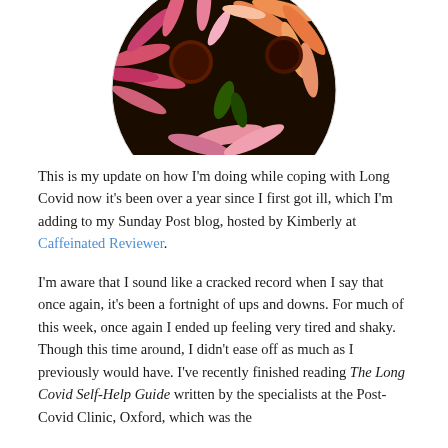[Figure (photo): Circular cropped photograph of pink and orange echinacea/coneflower blooms close-up against a dark background]
This is my update on how I'm doing while coping with Long Covid now it's been over a year since I first got ill, which I'm adding to my Sunday Post blog, hosted by Kimberly at Caffeinated Reviewer.
I'm aware that I sound like a cracked record when I say that once again, it's been a fortnight of ups and downs. For much of this week, once again I ended up feeling very tired and shaky. Though this time around, I didn't ease off as much as I previously would have. I've recently finished reading The Long Covid Self-Help Guide written by the specialists at the Post-Covid Clinic, Oxford, which was the